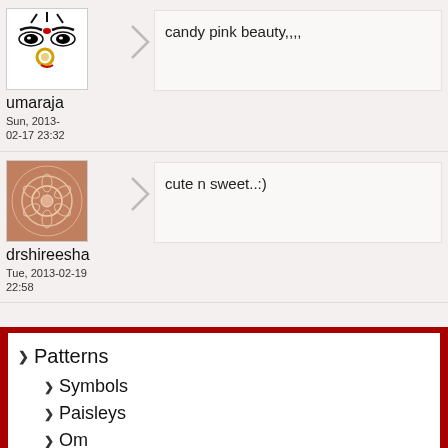candy pink beauty,,,,
[Figure (illustration): Avatar image of Hindu goddess (Durga) with stylized eyes and gold nose ring on white background]
umaraja
Sun, 2013-02-17 23:32
cute n sweet..:)
[Figure (illustration): Circular mandala/sacred geometry pattern in brownish-pink tones]
drshireesha
Tue, 2013-02-19 22:58
Patterns
Symbols
Paisleys
Om